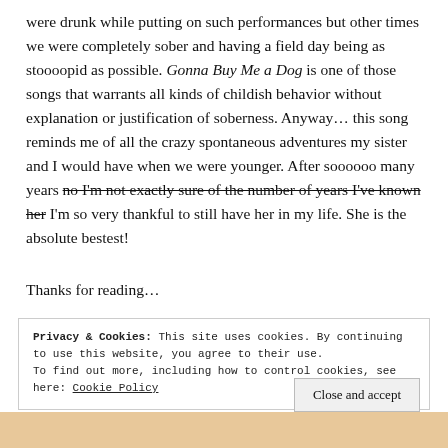were drunk while putting on such performances but other times we were completely sober and having a field day being as stoooopid as possible. Gonna Buy Me a Dog is one of those songs that warrants all kinds of childish behavior without explanation or justification of soberness. Anyway… this song reminds me of all the crazy spontaneous adventures my sister and I would have when we were younger. After soooooo many years no I'm not exactly sure of the number of years I've known her I'm so very thankful to still have her in my life. She is the absolute bestest!
Thanks for reading…
Privacy & Cookies: This site uses cookies. By continuing to use this website, you agree to their use. To find out more, including how to control cookies, see here: Cookie Policy